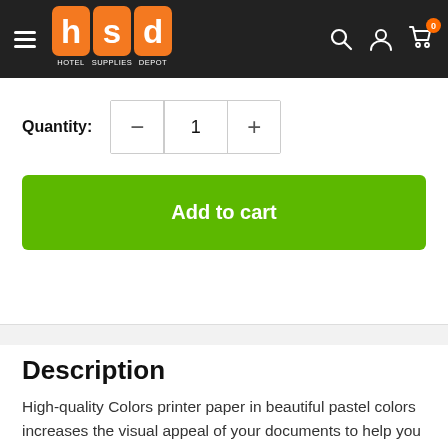[Figure (logo): HSD Hotel Supplies Depot logo — orange background with white letters h, s, d in separate squares, text HOTEL SUPPLIES DEPOT below]
Quantity: 1
Add to cart
Description
High-quality Colors printer paper in beautiful pastel colors increases the visual appeal of your documents to help you stand out from the crowd. Recommended for office, it comes with the technology...